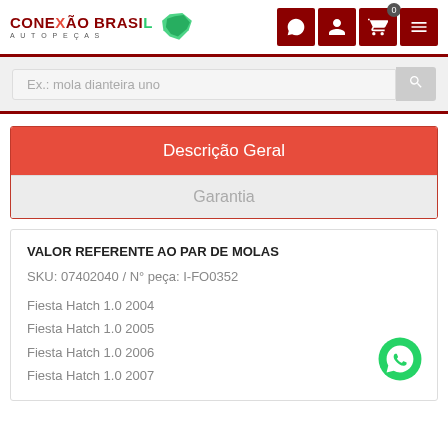[Figure (logo): Conexão Brasil Autopecas logo with map of Brazil icon]
Ex.: mola dianteira uno
Descrição Geral
Garantia
VALOR REFERENTE AO PAR DE MOLAS
SKU: 07402040 / N° peça: I-FO0352
Fiesta Hatch 1.0 2004
Fiesta Hatch 1.0 2005
Fiesta Hatch 1.0 2006
Fiesta Hatch 1.0 2007